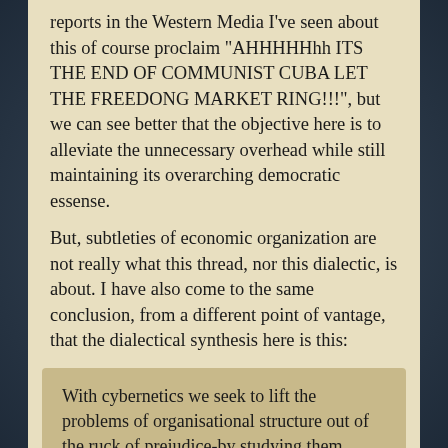reports in the Western Media I've seen about this of course proclaim "AHHHHHhh ITS THE END OF COMMUNIST CUBA LET THE FREEDONG MARKET RING!!!", but we can see better that the objective here is to alleviate the unnecessary overhead while still maintaining its overarching democratic essense.
But, subtleties of economic organization are not really what this thread, nor this dialectic, is about. I have also come to the same conclusion, from a different point of vantage, that the dialectical synthesis here is this:
With cybernetics we seek to lift the problems of organisational structure out of the ruck of prejudice-by studying them scientifically. People wonder whether to centralise or to decentralise the economy - they are answered by dogmas. People ask whether planning is inimical to freedom - they are answered with doctrines. People demand an end to bureaucracy and muddle---